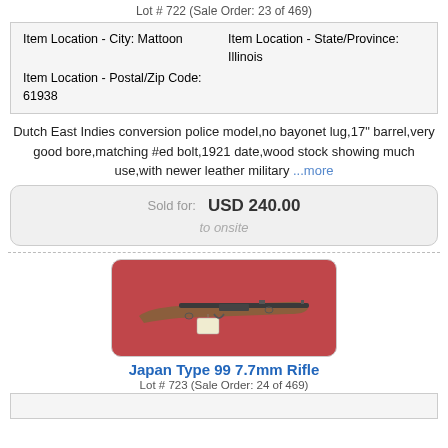Lot # 722 (Sale Order: 23 of 469)
| Item Location - City: Mattoon | Item Location - State/Province: Illinois |
| Item Location - Postal/Zip Code: 61938 |  |
Dutch East Indies conversion police model,no bayonet lug,17" barrel,very good bore,matching #ed bolt,1921 date,wood stock showing much use,with newer leather military ...more
Sold for: USD 240.00
to onsite
[Figure (photo): Photograph of a Japan Type 99 7.7mm Rifle on a red background with a price tag attached]
Japan Type 99 7.7mm Rifle
Lot # 723 (Sale Order: 24 of 469)